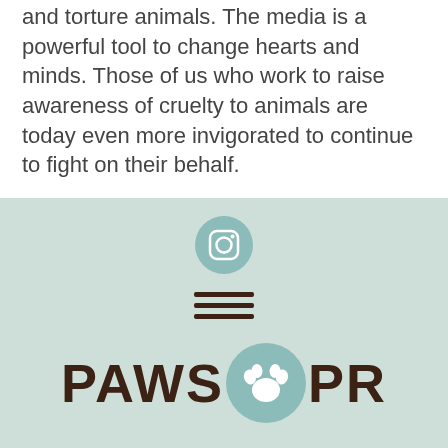and torture animals. The media is a powerful tool to change hearts and minds. Those of us who work to raise awareness of cruelty to animals are today even more invigorated to continue to fight on their behalf.
[Figure (logo): PAWS PR logo with Instagram icon, hamburger menu icon, and the text PAWS PR with a paw print circle icon between PAWS and PR, on a mint/sage green background]